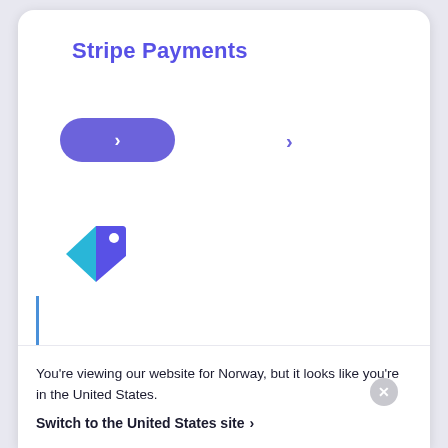Stripe Payments
[Figure (screenshot): A purple pill-shaped button with a right chevron arrow, and a separate right chevron arrow to the right]
[Figure (logo): A price tag icon in cyan and dark blue/purple colors]
>
You're viewing our website for Norway, but it looks like you're in the United States.
Switch to the United States site >